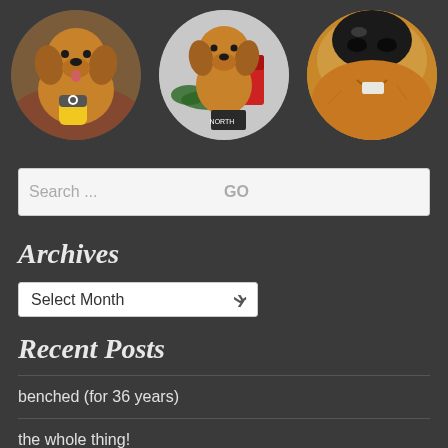[Figure (photo): Three circular cropped photos of golden retriever dogs arranged in a row. Left: dog indoors holding a Minion toy. Center: dog sitting outdoors with red chair and Christmas decorations. Right: close-up of dog's nose and face.]
Search ...
Archives
Select Month
Recent Posts
benched (for 36 years)
the whole thing!